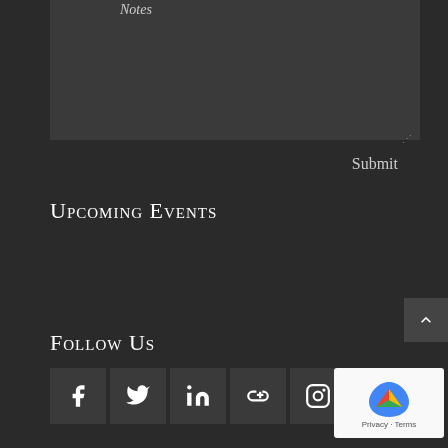Notes
Submit
Upcoming Events
Follow Us
[Figure (other): Row of social media icon buttons: Facebook, Twitter, LinkedIn, Google+, Instagram, YouTube]
[Figure (other): reCAPTCHA badge overlay with Privacy and Terms text]